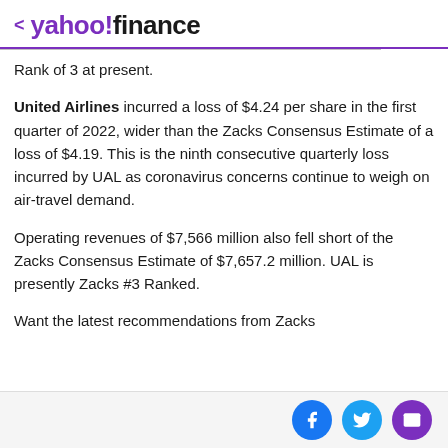< yahoo!finance
Rank of 3 at present.
United Airlines incurred a loss of $4.24 per share in the first quarter of 2022, wider than the Zacks Consensus Estimate of a loss of $4.19. This is the ninth consecutive quarterly loss incurred by UAL as coronavirus concerns continue to weigh on air-travel demand.
Operating revenues of $7,566 million also fell short of the Zacks Consensus Estimate of $7,657.2 million. UAL is presently Zacks #3 Ranked.
Want the latest recommendations from Zacks